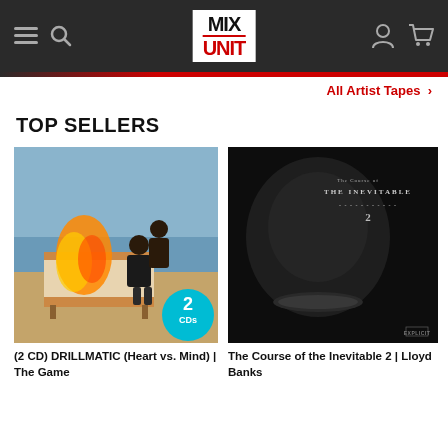MIX UNIT
All Artist Tapes ›
TOP SELLERS
[Figure (photo): Album cover for (2 CD) DRILLMATIC (Heart vs. Mind) by The Game — two men in suits sitting on a floral couch on a beach with fire, with a teal badge showing '2 CDs']
(2 CD) DRILLMATIC (Heart vs. Mind) | The Game
[Figure (photo): Album cover for The Course of the Inevitable 2 by Lloyd Banks — dark moody portrait of a man with the album title text in the upper right corner]
The Course of the Inevitable 2 | Lloyd Banks